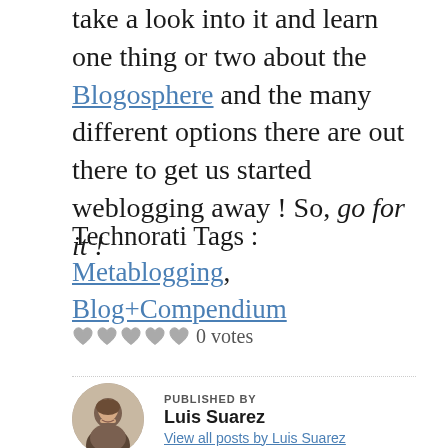take a look into it and learn one thing or two about the Blogosphere and the many different options there are out there to get us started weblogging away ! So, go for it !
Technorati Tags : Metablogging, Blog+Compendium
♥♥♥♥♥ 0 votes
PUBLISHED BY
Luis Suarez
View all posts by Luis Suarez